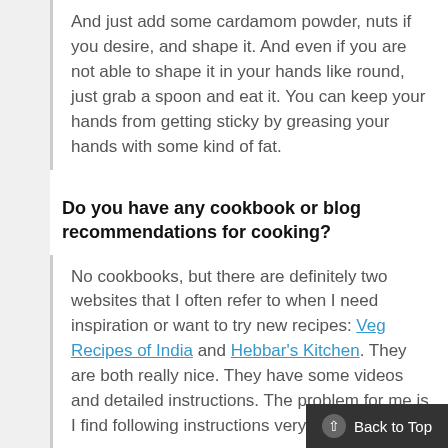And just add some cardamom powder, nuts if you desire, and shape it. And even if you are not able to shape it in your hands like round, just grab a spoon and eat it. You can keep your hands from getting sticky by greasing your hands with some kind of fat.
Do you have any cookbook or blog recommendations for cooking?
No cookbooks, but there are definitely two websites that I often refer to when I need inspiration or want to try new recipes: Veg Recipes of India and Hebbar's Kitchen. They are both really nice. They have some videos and detailed instructions. The problem for me is I find following instructions very difficu...